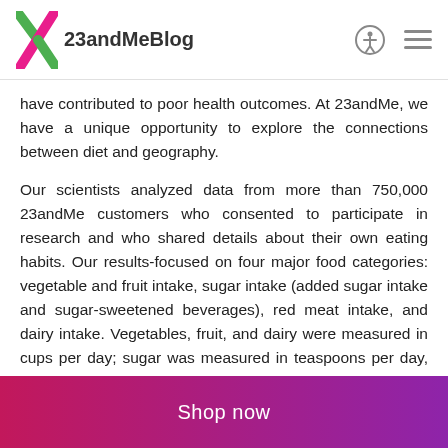23andMeBlog
have contributed to poor health outcomes. At 23andMe, we have a unique opportunity to explore the connections between diet and geography.
Our scientists analyzed data from more than 750,000 23andMe customers who consented to participate in research and who shared details about their own eating habits. Our results-focused on four major food categories: vegetable and fruit intake, sugar intake (added sugar intake and sugar-sweetened beverages), red meat intake, and dairy intake. Vegetables, fruit, and dairy were measured in cups per day; sugar was measured in teaspoons per day, and red meat was measured in times eaten per day.
Shop now